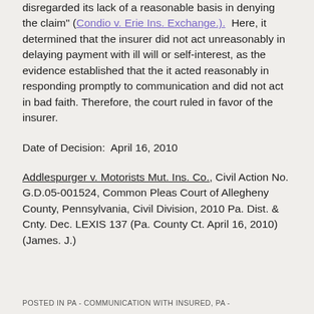disregarded its lack of a reasonable basis in denying the claim" (Condio v. Erie Ins. Exchange.).  Here, it determined that the insurer did not act unreasonably in delaying payment with ill will or self-interest, as the evidence established that the it acted reasonably in responding promptly to communication and did not act in bad faith. Therefore, the court ruled in favor of the insurer.
Date of Decision:  April 16, 2010
Addlespurger v. Motorists Mut. Ins. Co., Civil Action No. G.D.05-001524, Common Pleas Court of Allegheny County, Pennsylvania, Civil Division, 2010 Pa. Dist. & Cnty. Dec. LEXIS 137 (Pa. County Ct. April 16, 2010) (James. J.)
POSTED IN PA - COMMUNICATION WITH INSURED, PA -